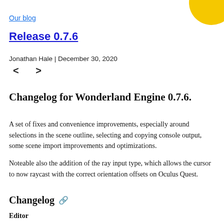Our blog
Release 0.7.6
Jonathan Hale | December 30, 2020
< >
Changelog for Wonderland Engine 0.7.6.
A set of fixes and convenience improvements, especially around selections in the scene outline, selecting and copying console output, some scene import improvements and optimizations.
Noteable also the addition of the ray input type, which allows the cursor to now raycast with the correct orientation offsets on Oculus Quest.
Changelog
Editor